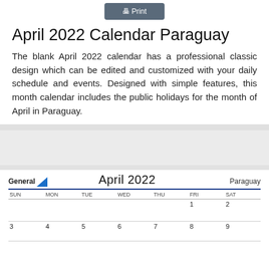[Figure (other): Print button with printer icon, dark grey background]
April 2022 Calendar Paraguay
The blank April 2022 calendar has a professional classic design which can be edited and customized with your daily schedule and events. Designed with simple features, this month calendar includes the public holidays for the month of April in Paraguay.
[Figure (other): April 2022 calendar for Paraguay showing GeneralBlue logo, month title, days of week header, and first two weeks with dates 1-9 visible]